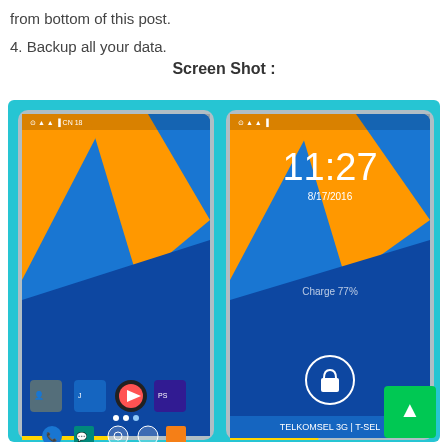from bottom of this post.
4. Backup all your data.
Screen Shot :
[Figure (screenshot): Two Android smartphone screenshots side by side. Left shows a home screen with blue, orange, and yellow geometric wallpaper, app icons including MX Player and PS Touch, and navigation dots. Right shows a lock screen with time 11:27, date 8/17/2016, battery 77%, a lock icon, and TELKOMSEL 3G | T-SEL at the bottom.]